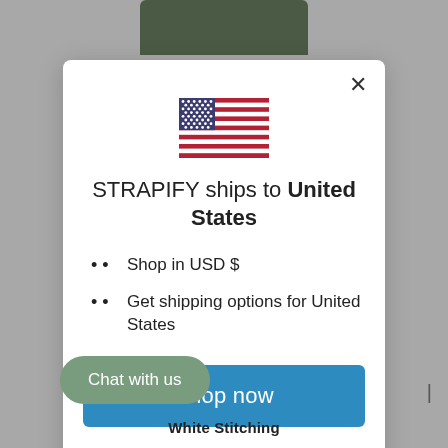[Figure (illustration): US flag SVG icon centered above the modal title]
STRAPIFY ships to United States
Shop in USD $
Get shipping options for United States
Shop now
inge shipping country
Chat with us
White Stitching